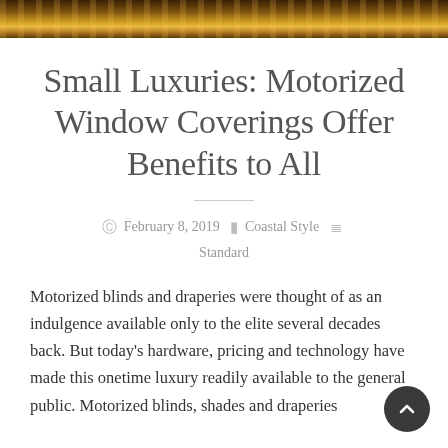[Figure (photo): Dark golden/amber colored background image strip at the top of the page, resembling a nighttime water reflection or bokeh lights]
Small Luxuries: Motorized Window Coverings Offer Benefits to All
February 8, 2019  Coastal Style  Standard
Motorized blinds and draperies were thought of as an indulgence available only to the elite several decades back. But today's hardware, pricing and technology have made this onetime luxury readily available to the general public. Motorized blinds, shades and draperies